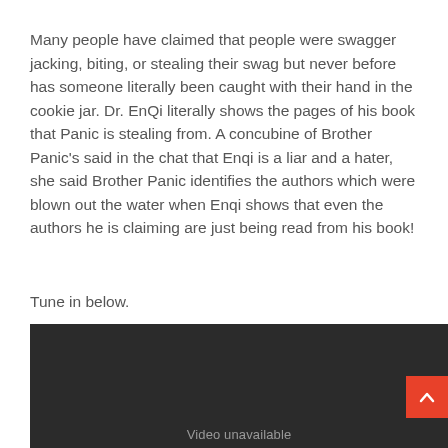Many people have claimed that people were swagger jacking, biting, or stealing their swag but never before has someone literally been caught with their hand in the cookie jar. Dr. EnQi literally shows the pages of his book that Panic is stealing from. A concubine of Brother Panic's said in the chat that Enqi is a liar and a hater, she said Brother Panic identifies the authors which were blown out the water when Enqi shows that even the authors he is claiming are just being read from his book!
Tune in below.
[Figure (screenshot): Dark video player area showing 'Video unavailable' text at the bottom, with a red scroll-to-top button in the lower right corner containing an upward arrow.]